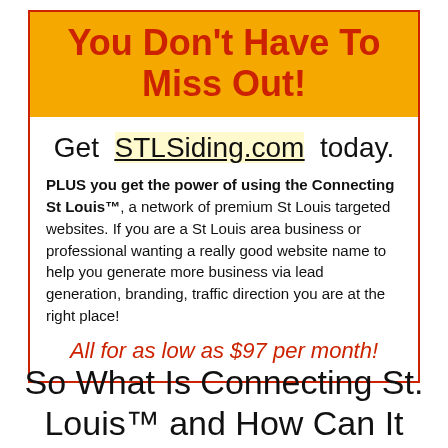You Don't Have To Miss Out!
Get STLSiding.com today.
PLUS you get the power of using the Connecting St Louis™, a network of premium St Louis targeted websites. If you are a St Louis area business or professional wanting a really good website name to help you generate more business via lead generation, branding, traffic direction you are at the right place!
All for as low as $97 per month!
So What Is Connecting St. Louis™ and How Can It